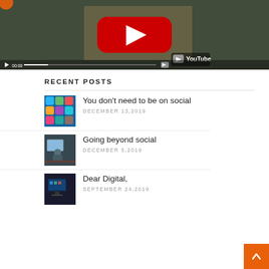[Figure (screenshot): YouTube video embed showing a person holding a sign, with YouTube logo and player controls at bottom, red play button in center]
RECENT POSTS
[Figure (photo): Thumbnail image showing social media app icons on a phone screen]
You don't need to be on social
DECEMBER 13,2019
[Figure (photo): Thumbnail image showing a person working at a laptop computer]
Going beyond social
DECEMBER 5,2019
[Figure (photo): Thumbnail image showing a dark room with a computer screen]
Dear Digital,
SEPTEMBER 24,2019